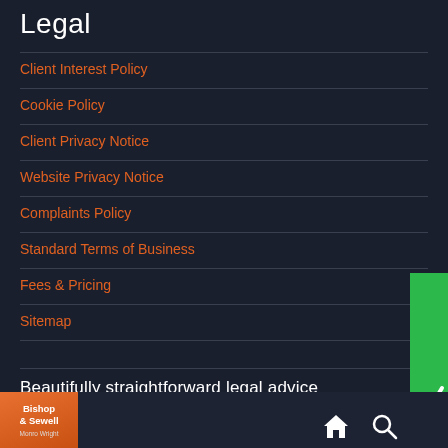Legal
Client Interest Policy
Cookie Policy
Client Privacy Notice
Website Privacy Notice
Complaints Policy
Standard Terms of Business
Fees & Pricing
Sitemap
Beautifully straightforward legal advice
[Figure (logo): Bishop & Sewell / Monro Wright law firm logo in orange box at bottom left]
[Figure (other): reviewsolicitors green vertical badge on right side]